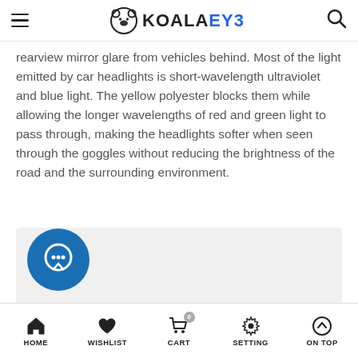KOALAEYE
rearview mirror glare from vehicles behind. Most of the light emitted by car headlights is short-wavelength ultraviolet and blue light. The yellow polyester blocks them while allowing the longer wavelengths of red and green light to pass through, making the headlights softer when seen through the goggles without reducing the brightness of the road and the surrounding environment.
[Figure (other): Gray placeholder content block with a circular chat bubble icon at lower left]
HOME | WISHLIST | CART | SETTING | ON TOP